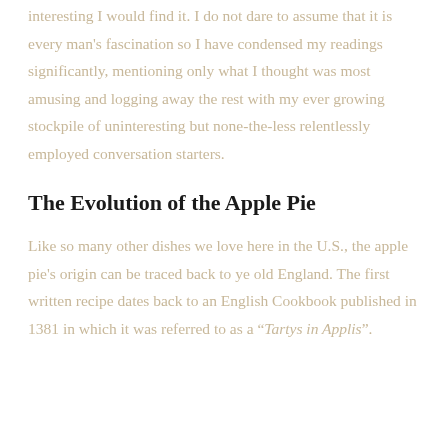interesting I would find it. I do not dare to assume that it is every man's fascination so I have condensed my readings significantly, mentioning only what I thought was most amusing and logging away the rest with my ever growing stockpile of uninteresting but none-the-less relentlessly employed conversation starters.
The Evolution of the Apple Pie
Like so many other dishes we love here in the U.S., the apple pie's origin can be traced back to ye old England. The first written recipe dates back to an English Cookbook published in 1381 in which it was referred to as a “Tartys in Applis”.